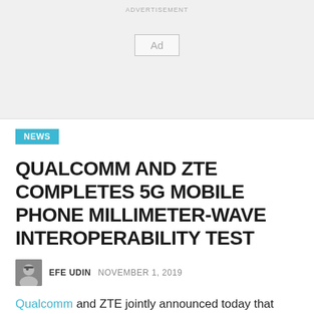ADVERTISEMENT
[Figure (other): Advertisement banner placeholder with 'Ad' label]
NEWS
QUALCOMM AND ZTE COMPLETES 5G MOBILE PHONE MILLIMETER-WAVE INTEROPERABILITY TEST
EFE UDIN  NOVEMBER 1, 2019
Qualcomm and ZTE jointly announced today that under the organization of the IMT-2020